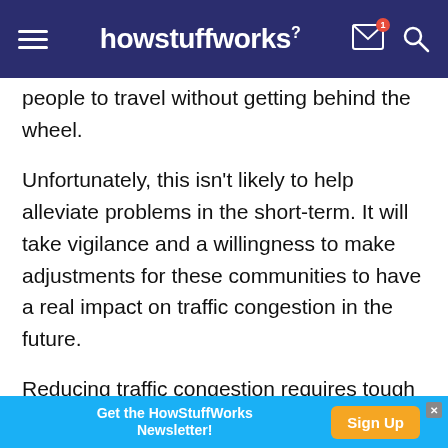howstuffworks
people to travel without getting behind the wheel. Unfortunately, this isn't likely to help alleviate problems in the short-term. It will take vigilance and a willingness to make adjustments for these communities to have a real impact on traffic congestion in the future.
Reducing traffic congestion requires tough and sometimes unpopular decisions from the government level all the way down to the individual driver. As the problem increases, you'll likely see government officials look more carefully at their
[Figure (infographic): Advertisement banner: 'Get the HowStuffWorks Newsletter!' with a 'Sign Up' button in orange on a blue background.]